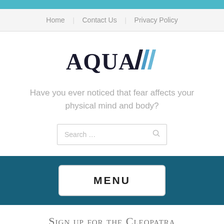Home | Contact Us | Privacy Policy
[Figure (logo): AQUA logo with wave mark in dark navy and blue]
Have you ever noticed that fear affects your physical mind and body?
Search …
MENU
Sign up for the Cleopatra